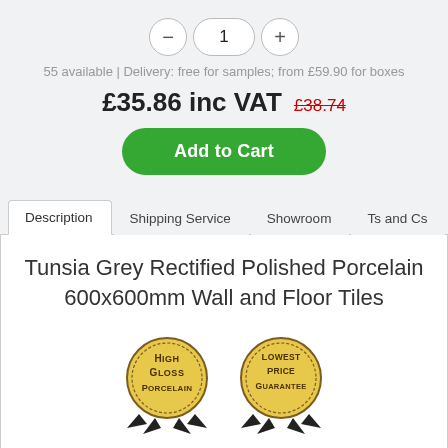1
55 available | Delivery: free for samples; from £59.90 for boxes
£35.86 inc VAT  £38.74
Add to Cart
Description  Shipping Service  Showroom  Ts and Cs
Tunsia Grey Rectified Polished Porcelain 600x600mm Wall and Floor Tiles
[Figure (illustration): Two circular badge icons: left badge reads 'High Gloss Porcelain' in gold/brown with ribbon, right badge reads 'Lowest Price Guarantee' in gold/brown with ribbon]
Tile Features